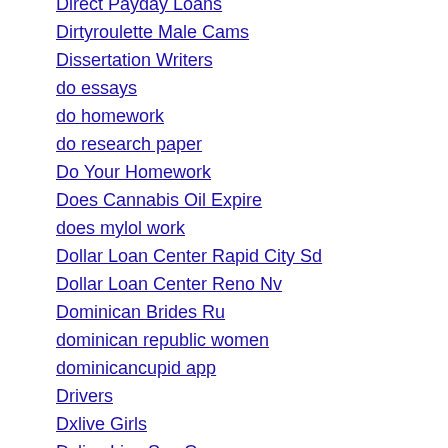Direct Payday Loans
Dirtyroulette Male Cams
Dissertation Writers
do essays
do homework
do research paper
Do Your Homework
Does Cannabis Oil Expire
does mylol work
Dollar Loan Center Rapid City Sd
Dollar Loan Center Reno Nv
Dominican Brides Ru
dominican republic women
dominicancupid app
Drivers
Dxlive Girls
Dxlive Live Sex Cams
easiest payday loans
eastern europe girls